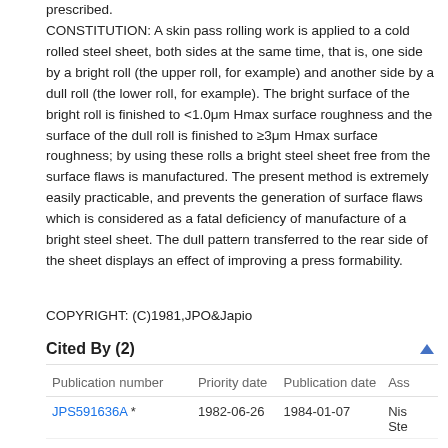prescribed. CONSTITUTION: A skin pass rolling work is applied to a cold rolled steel sheet, both sides at the same time, that is, one side by a bright roll (the upper roll, for example) and another side by a dull roll (the lower roll, for example). The bright surface of the bright roll is finished to <1.0μm Hmax surface roughness and the surface of the dull roll is finished to ≥3μm Hmax surface roughness; by using these rolls a bright steel sheet free from the surface flaws is manufactured. The present method is extremely easily practicable, and prevents the generation of surface flaws which is considered as a fatal deficiency of manufacture of a bright steel sheet. The dull pattern transferred to the rear side of the sheet displays an effect of improving a press formability.
COPYRIGHT: (C)1981,JPO&Japio
Cited By (2)
| Publication number | Priority date | Publication date | Ass |
| --- | --- | --- | --- |
| JPS591636A * | 1982-06-26 | 1984-01-07 | Nis Ste |